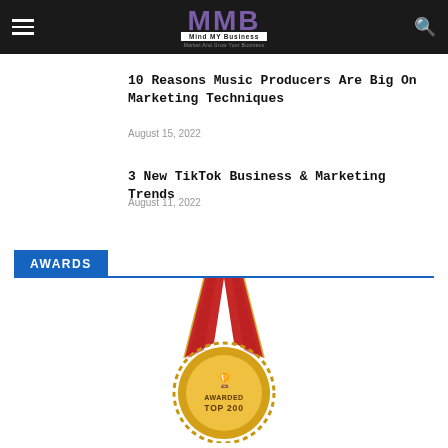Mind MY Business — MMB
10 Reasons Music Producers Are Big On Marketing Techniques
August 15, 2022
3 New TikTok Business & Marketing Trends
August 11, 2022
AWARDS
[Figure (photo): Gold medal with red ribbon, awarded Top 200]